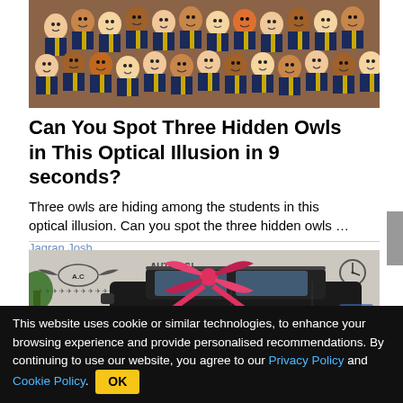[Figure (illustration): Crowd of illustrated cartoon students wearing dark blazers and yellow ties, packed together, some with open mouths laughing, various skin tones, with a brown/tan background border. Three hidden owls puzzle image.]
Can You Spot Three Hidden Owls in This Optical Illusion in 9 seconds?
Three owls are hiding among the students in this optical illusion. Can you spot the three hidden owls …
Jagran Josh
[Figure (photo): A black SUV/truck with a large red bow/ribbon on the hood, displayed inside what appears to be an auto dealership. Background shows winged logo banners reading 'AUTOS GL...' and 'A.C'. A clock is visible on the wall.]
This website uses cookie or similar technologies, to enhance your browsing experience and provide personalised recommendations. By continuing to use our website, you agree to our Privacy Policy and Cookie Policy.   OK